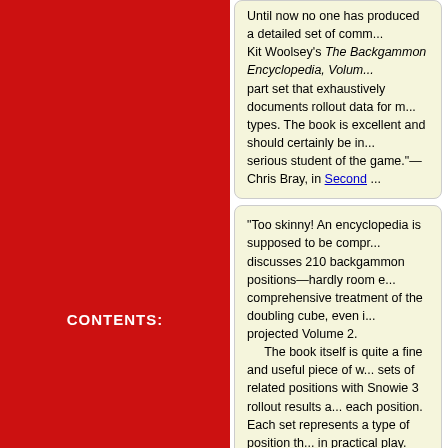Until now no one has produced a detailed set of comm... Kit Woolsey's The Backgammon Encyclopedia, Volum... part set that exhaustively documents rollout data for m... types. The book is excellent and should certainly be in... serious student of the game."—Chris Bray, in Second ...
"Too skinny! An encyclopedia is supposed to be compr... discusses 210 backgammon positions—hardly room e... comprehensive treatment of the doubling cube, even i... projected Volume 2. The book itself is quite a fine and useful piece of w... sets of related positions with Snowie 3 rollout results a... each position. Each set represents a type of position th... in practical play. Everyone who plays backgammon wi... needs to know something about these types. The discussions of the positions are very instructiv... gift for showing how to use simple commonsense cond... complex positions."—Walter Trice, Flint Area Backgam...
CONTENTS:
Introduction
1: Early Advantage
2: The Semi-Blitz
3: One Man Back
4: On the Bar
5: Containment
6: Hitting a Blot